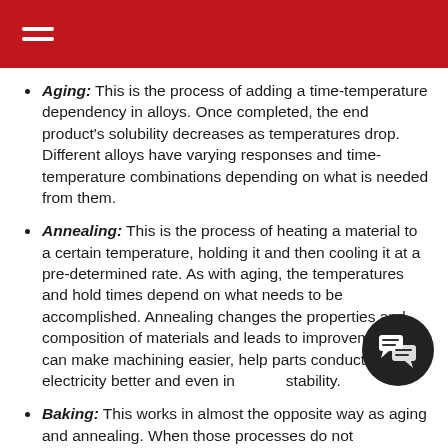Aging: This is the process of adding a time-temperature dependency in alloys. Once completed, the end product's solubility decreases as temperatures drop. Different alloys have varying responses and time-temperature combinations depending on what is needed from them.
Annealing: This is the process of heating a material to a certain temperature, holding it and then cooling it at a pre-determined rate. As with aging, the temperatures and hold times depend on what needs to be accomplished. Annealing changes the properties and composition of materials and leads to improvements. It can make machining easier, help parts conduct electricity better and even increase stability.
Baking: This works in almost the opposite way as aging and annealing. When those processes do not